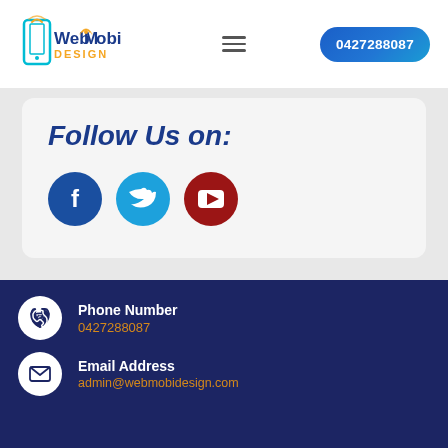[Figure (logo): WebMobi Design logo with smartphone icon]
≡
0427288087
Follow Us on:
[Figure (infographic): Social media icons: Facebook (blue circle), Twitter (cyan circle), YouTube (dark red circle)]
Phone Number
0427288087
Email Address
admin@webmobidesign.com